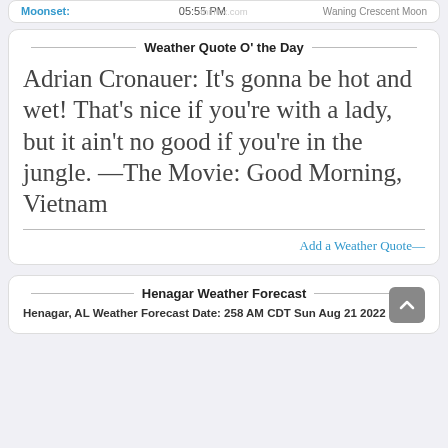Moonset: 05:55 PM  Waning Crescent Moon
Weather Quote O' the Day
Adrian Cronauer: It's gonna be hot and wet! That's nice if you're with a lady, but it ain't no good if you're in the jungle. —The Movie: Good Morning, Vietnam
Add a Weather Quote—
Henagar Weather Forecast
Henagar, AL Weather Forecast Date: 258 AM CDT Sun Aug 21 2022